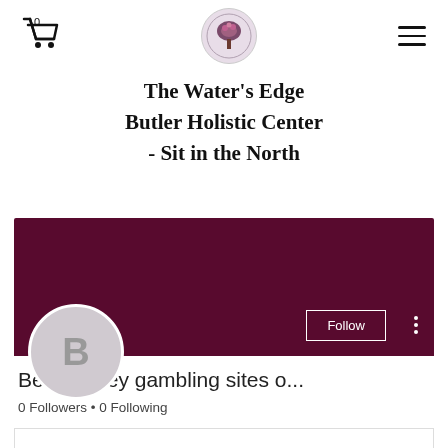Shopping cart: 0 items. Logo. Navigation menu.
The Water's Edge Butler Holistic Center - Sit in the North
[Figure (screenshot): Social media profile card with dark maroon/burgundy banner, circular avatar with letter B, Follow button, and three-dot menu button.]
Best money gambling sites o...
0 Followers • 0 Following